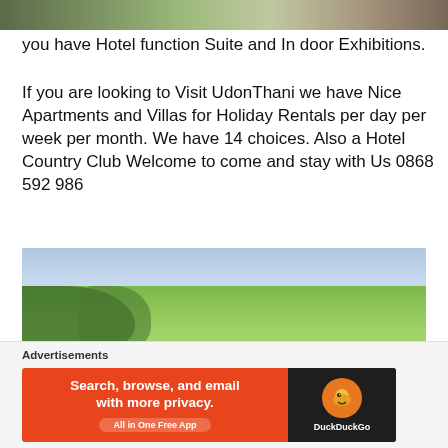[Figure (photo): Partial top edge of a photo showing an indoor/outdoor venue with green ceiling structure and people]
you have Hotel function Suite and In door Exhibitions.
If you are looking to Visit UdonThani we have Nice Apartments and Villas for Holiday Rentals per day per week per month. We have 14 choices. Also a Hotel Country Club Welcome to come and stay with Us 0868 592 986
[Figure (photo): Aerial drone photo of a country club property with red-roofed buildings in the foreground and green fields and trees in the background]
Advertisements
[Figure (other): DuckDuckGo advertisement banner: Search, browse, and email with more privacy. All in One Free App]